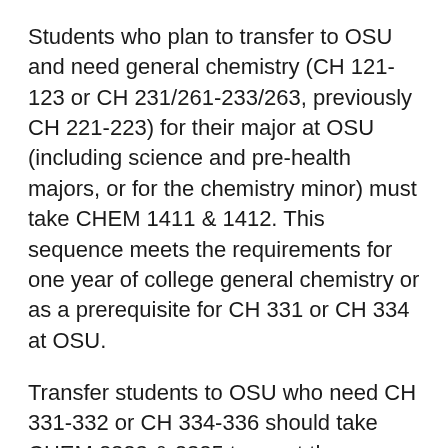Students who plan to transfer to OSU and need general chemistry (CH 121-123 or CH 231/261-233/263, previously CH 221-223) for their major at OSU (including science and pre-health majors, or for the chemistry minor) must take CHEM 1411 & 1412. This sequence meets the requirements for one year of college general chemistry or as a prerequisite for CH 331 or CH 334 at OSU.
Transfer students to OSU who need CH 331-332 or CH 334-336 should take CHEM 2323 & 2325 to meet the requirements. To use CHEM 2125 to fulfill the requirement of CH 337 for a major or as an "upper division" lab course for the chemistry minor, both CHEM 2123 and 2125 must be taken. These two courses will also fulfill the requirements of CH 361 for a